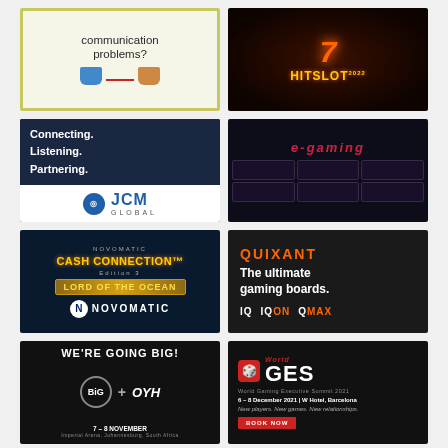[Figure (illustration): Advertisement: 'communication problems?' with two tin cans connected by string]
[Figure (illustration): Advertisement: HITSLOT 2022 casino slot game logo with number 7, fruits on dark background]
[Figure (illustration): Advertisement: JCM Global - Connecting. Listening. Partnering. logo on dark blue background]
[Figure (illustration): Advertisement: e-gaming logo with dark grid of game thumbnails]
[Figure (illustration): Advertisement: Novomatic Cash Connection Lord of the Ocean game]
[Figure (illustration): Advertisement: Quixant - The ultimate gaming boards. IQ IQON QMAX products]
[Figure (illustration): Advertisement: WE'RE GOING BIG! BIG + OYH group event, 7-8 November]
[Figure (illustration): Advertisement: World GES - World Gaming Executive Summit 2021, 6-8 December, W Hotel Barcelona. New players. New games. New relationships. BOOK NOW]